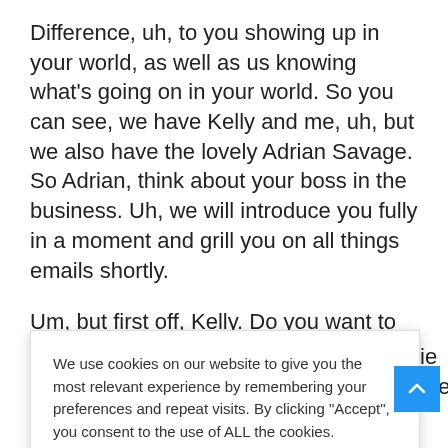Difference, uh, to you showing up in your world, as well as us knowing what's going on in your world. So you can see, we have Kelly and me, uh, but we also have the lovely Adrian Savage. So Adrian, think about your boss in the business. Uh, we will introduce you fully in a moment and grill you on all things emails shortly.
Um, but first off, Kelly. Do you want to update the buzz in your business on your bits of you all
[Figure (screenshot): Cookie consent popup with text: 'We use cookies on our website to give you the most relevant experience by remembering your preferences and repeat visits. By clicking "Accept", you consent to the use of ALL the cookies.' with 'Cookie settings' and 'ACCEPT' buttons.]